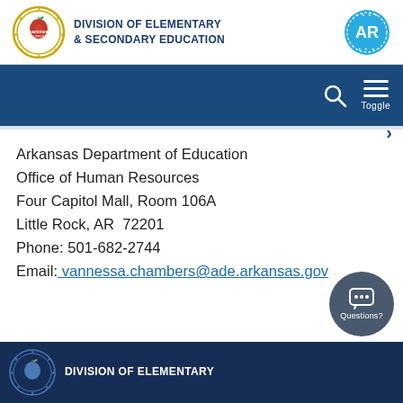Division of Elementary & Secondary Education
Arkansas Department of Education
Office of Human Resources
Four Capitol Mall, Room 106A
Little Rock, AR  72201
Phone: 501-682-2744
Email: vannessa.chambers@ade.arkansas.gov
Division of Elementary